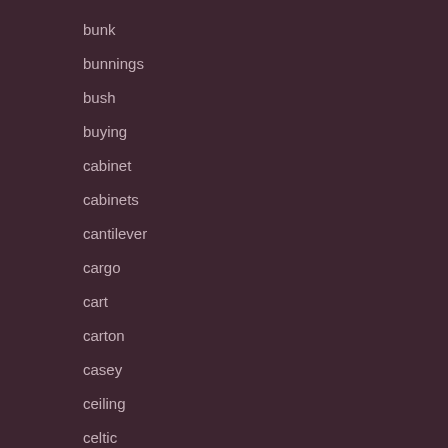bunk
bunnings
bush
buying
cabinet
cabinets
cantilever
cargo
cart
carton
casey
ceiling
celtic